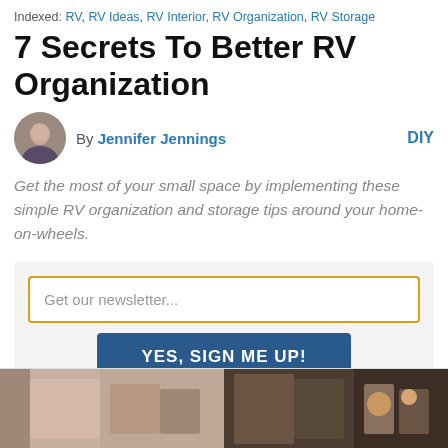Indexed: RV, RV Ideas, RV Interior, RV Organization, RV Storage
7 Secrets To Better RV Organization
By Jennifer Jennings    DIY
Get the most of your small space by implementing these simple RV organization and storage tips around your home-on-wheels.
[Figure (screenshot): Newsletter signup widget with gold-bordered input field placeholder 'Get our newsletter...' and blue 'YES, SIGN ME UP!' button on light gray background]
[Figure (photo): Two partial photos at bottom of page showing RV interior scenes side by side]